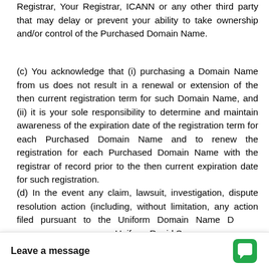Registrar, Your Registrar, ICANN or any other third party that may delay or prevent your ability to take ownership and/or control of the Purchased Domain Name.
(c) You acknowledge that (i) purchasing a Domain Name from us does not result in a renewal or extension of the then current registration term for such Domain Name, and (ii) it is your sole responsibility to determine and maintain awareness of the expiration date of the registration term for each Purchased Domain Name and to renew the registration for each Purchased Domain Name with the registrar of record prior to the then current expiration date for such registration.
(d) In the event any claim, lawsuit, investigation, dispute resolution action (including, without limitation, any action filed pursuant to the Uniform Domain Name D... Uniform Rapid Sus...